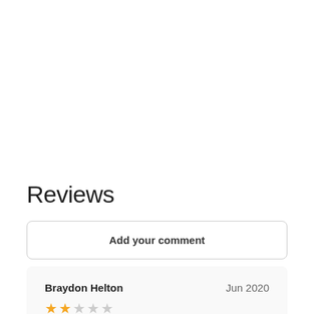Reviews
Add your comment
Braydon Helton   Jun 2020   ★★☆☆☆   Went there to get my buzz cut cleaned up and trimmed a bit